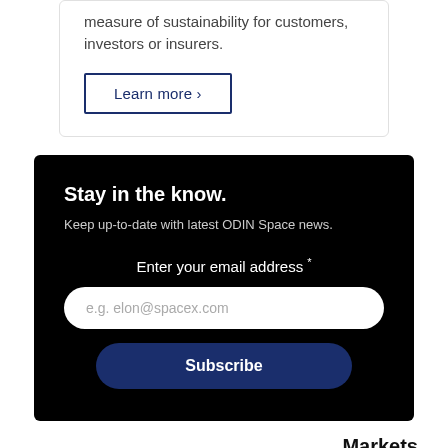measure of sustainability for customers, investors or insurers.
Learn more ›
Stay in the know.
Keep up-to-date with latest ODIN Space news.
Enter your email address *
e.g. elon@spacex.com
Subscribe
Markets